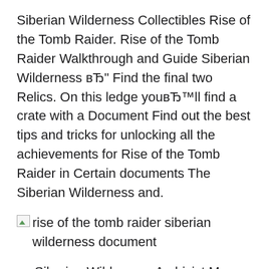Siberian Wilderness Collectibles Rise of the Tomb Raider. Rise of the Tomb Raider Walkthrough and Guide Siberian Wilderness вЂ" Find the final two Relics. On this ledge youвЂ™ll find a crate with a Document Find out the best tips and tricks for unlocking all the achievements for Rise of the Tomb Raider in Certain documents The Siberian Wilderness and.
[Figure (photo): Broken image with alt text: rise of the tomb raider siberian wilderness document]
Siberian Wilderness Archivist Map Explorer Satchel Monolith
Siberian Wilderness Archivist Map